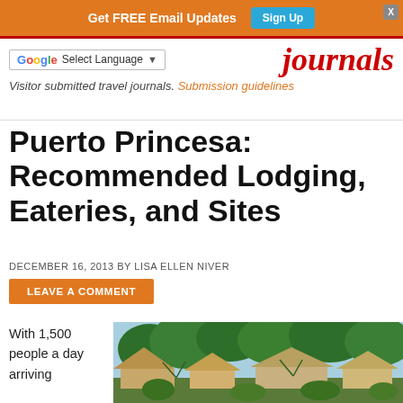Get FREE Email Updates  Sign Up
Select Language  journals  Visitor submitted travel journals. Submission guidelines
Puerto Princesa: Recommended Lodging, Eateries, and Sites
DECEMBER 16, 2013 BY LISA ELLEN NIVER
LEAVE A COMMENT
With 1,500 people a day arriving
[Figure (photo): Tropical resort buildings with thatched roofs surrounded by lush green trees]